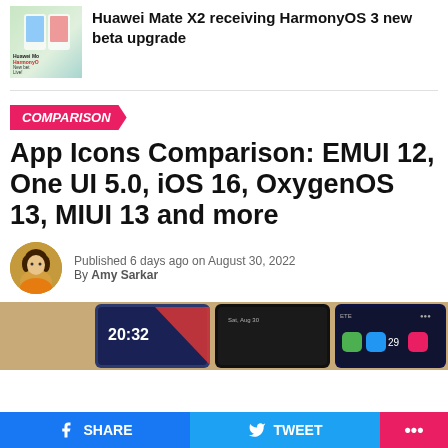[Figure (screenshot): Thumbnail image of Huawei Mate X2 with HarmonyOS branding]
Huawei Mate X2 receiving HarmonyOS 3 new beta upgrade
COMPARISON
App Icons Comparison: EMUI 12, One UI 5.0, iOS 16, OxygenOS 13, MIUI 13 and more
Published 6 days ago on August 30, 2022
By Amy Sarkar
[Figure (screenshot): Multiple phone screens showing different OS UI home screens with app icons]
SHARE  TWEET  ...